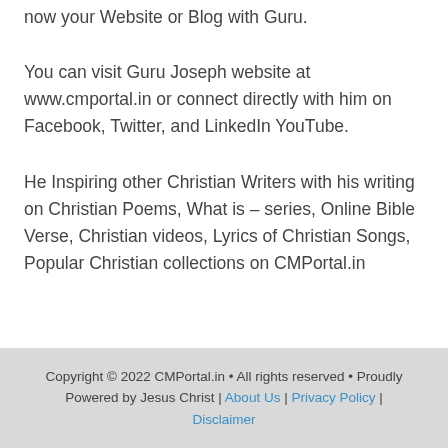now your Website or Blog with Guru.
You can visit Guru Joseph website at www.cmportal.in or connect directly with him on Facebook, Twitter, and LinkedIn YouTube.
He Inspiring other Christian Writers with his writing on Christian Poems, What is – series, Online Bible Verse, Christian videos, Lyrics of Christian Songs, Popular Christian collections on CMPortal.in
Copyright © 2022 CMPortal.in • All rights reserved • Proudly Powered by Jesus Christ | About Us | Privacy Policy | Disclaimer